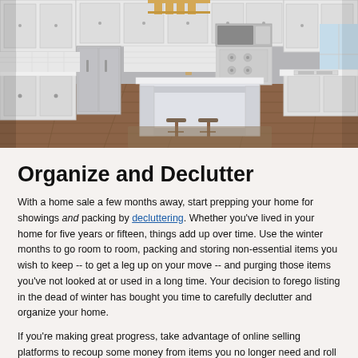[Figure (photo): Bright modern kitchen with white cabinets, stainless steel appliances, a large kitchen island with barstools, hardwood floors, and a window on the right side.]
Organize and Declutter
With a home sale a few months away, start prepping your home for showings and packing by decluttering. Whether you've lived in your home for five years or fifteen, things add up over time. Use the winter months to go room to room, packing and storing non-essential items you wish to keep -- to get a leg up on your move -- and purging those items you've not looked at or used in a long time. Your decision to forego listing in the dead of winter has bought you time to carefully declutter and organize your home.
If you're making great progress, take advantage of online selling platforms to recoup some money from items you no longer need and roll it into